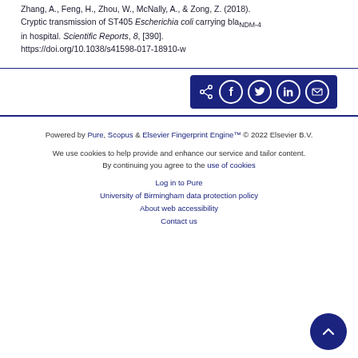Zhang, A., Feng, H., Zhou, W., McNally, A., & Zong, Z. (2018). Cryptic transmission of ST405 Escherichia coli carrying blaNDM-4 in hospital. Scientific Reports, 8, [390]. https://doi.org/10.1038/s41598-017-18910-w
[Figure (other): Social share button bar with share, Facebook, Twitter, LinkedIn, and email icons on dark blue background]
Powered by Pure, Scopus & Elsevier Fingerprint Engine™ © 2022 Elsevier B.V.
We use cookies to help provide and enhance our service and tailor content. By continuing you agree to the use of cookies
Log in to Pure
University of Birmingham data protection policy
About web accessibility
Contact us